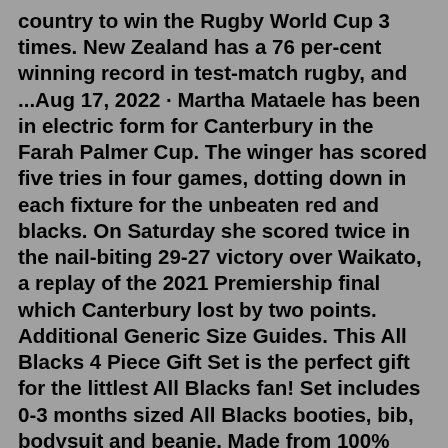country to win the Rugby World Cup 3 times. New Zealand has a 76 per-cent winning record in test-match rugby, and ...Aug 17, 2022 · Martha Mataele has been in electric form for Canterbury in the Farah Palmer Cup. The winger has scored five tries in four games, dotting down in each fixture for the unbeaten red and blacks. On Saturday she scored twice in the nail-biting 29-27 victory over Waikato, a replay of the 2021 Premiership final which Canterbury lost by two points. Additional Generic Size Guides. This All Blacks 4 Piece Gift Set is the perfect gift for the littlest All Blacks fan! Set includes 0-3 months sized All Blacks booties, bib, bodysuit and beanie. Made from 100% comfortable cotton knit. All items feature the All Blacks logos. Complete with beautiful gift packaging. The only scientifically proven oval chainrings on the market. Our studies led by the University of Primorska, Slovenia show significant differences when using absoluteBLACK Oval chainrings compared to round. Up to 9% increase of pedaling effectiveness, up to 7% less oxygen...